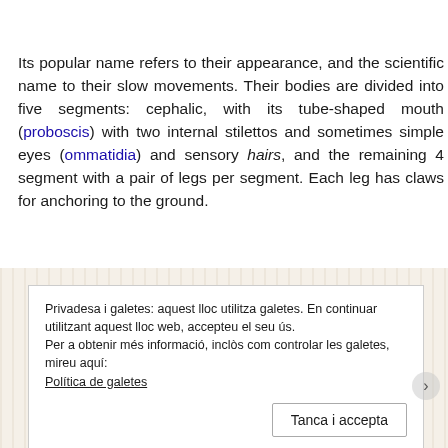Its popular name refers to their appearance, and the scientific name to their slow movements. Their bodies are divided into five segments: cephalic, with its tube-shaped mouth (proboscis) with two internal stilettos and sometimes simple eyes (ommatidia) and sensory hairs, and the remaining 4 segment with a pair of legs per segment. Each leg has claws for anchoring to the ground.
[Figure (screenshot): Cookie consent banner overlay on a beige/cream background. Contains text in Catalan about privacy and cookies policy, a link 'Política de galetes', and a button 'Tanca i accepta'.]